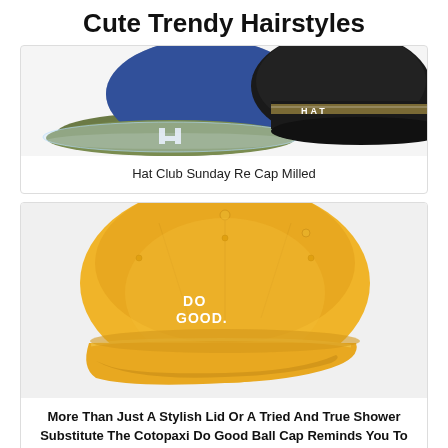Cute Trendy Hairstyles
[Figure (photo): Photo of Hat Club Sunday Re Cap Milled hats — olive green and navy blue cap on left, black cap with 'HAT' lettering on right]
Hat Club Sunday Re Cap Milled
[Figure (photo): Photo of a yellow Cotopaxi Do Good Ball Cap with white embroidered text reading 'DO GOOD.' on the front panel]
More Than Just A Stylish Lid Or A Tried And True Shower Substitute The Cotopaxi Do Good Ball Cap Reminds You To Take Some Best Caps Ball Cap Guy Friend Gifts